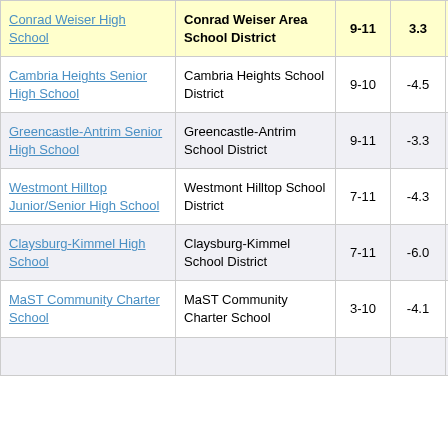| School | District | Grades | Score | ... |
| --- | --- | --- | --- | --- |
| Conrad Weiser High School | Conrad Weiser Area School District | 9-11 | 3.3 | ... |
| Cambria Heights Senior High School | Cambria Heights School District | 9-10 | -4.5 | ... |
| Greencastle-Antrim Senior High School | Greencastle-Antrim School District | 9-11 | -3.3 | ... |
| Westmont Hilltop Junior/Senior High School | Westmont Hilltop School District | 7-11 | -4.3 | ... |
| Claysburg-Kimmel High School | Claysburg-Kimmel School District | 7-11 | -6.0 | ... |
| MaST Community Charter School | MaST Community Charter School | 3-10 | -4.1 | ... |